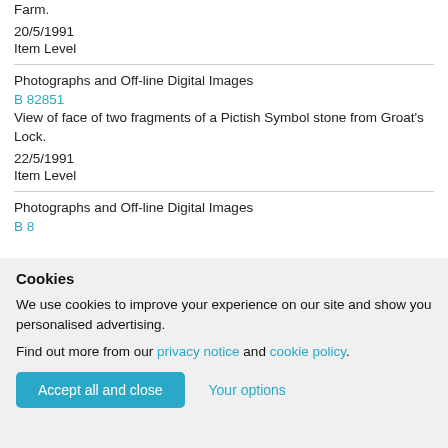View of face of cross slab from Mid Glyth, Brockhall Farm.
20/5/1991
Item Level
Photographs and Off-line Digital Images
B 82851
View of face of two fragments of a Pictish Symbol stone from Groat's Lock.
22/5/1991
Item Level
Photographs and Off-line Digital Images
B 82851
Cookies
We use cookies to improve your experience on our site and show you personalised advertising.
Find out more from our privacy notice and cookie policy.
Accept all and close
Your options